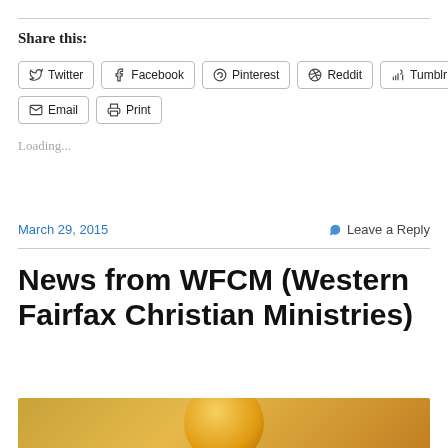Share this:
Twitter
Facebook
Pinterest
Reddit
Tumblr
Email
Print
Loading...
March 29, 2015
Leave a Reply
News from WFCM (Western Fairfax Christian Ministries)
[Figure (photo): Partial image visible at the bottom of the page, appears to show a yellow/orange circular object against a warm-toned background]